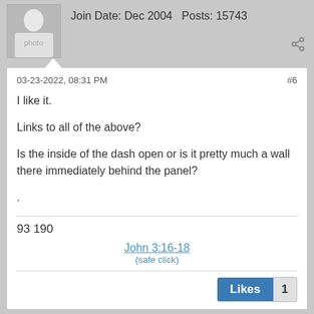Join Date: Dec 2004   Posts: 15743
03-23-2022, 08:31 PM   #6
I like it.
Links to all of the above?
Is the inside of the dash open or is it pretty much a wall there immediately behind the panel?
.
93 190
John 3:16-18
(safe click)
Likes   1
Pro351
TT Enthusiast
Join Date: Jul 2021   Posts: 157